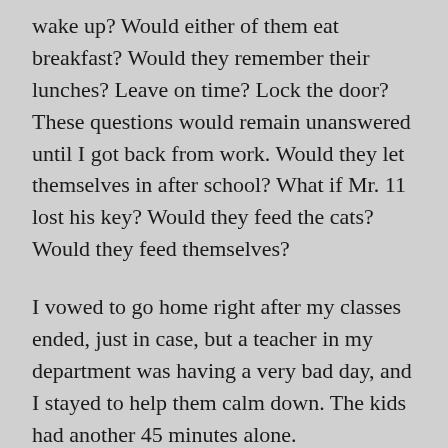wake up? Would either of them eat breakfast? Would they remember their lunches? Leave on time? Lock the door? These questions would remain unanswered until I got back from work. Would they let themselves in after school? What if Mr. 11 lost his key? Would they feed the cats? Would they feed themselves?
I vowed to go home right after my classes ended, just in case, but a teacher in my department was having a very bad day, and I stayed to help them calm down. The kids had another 45 minutes alone.
As I finally gathered my things, I realized